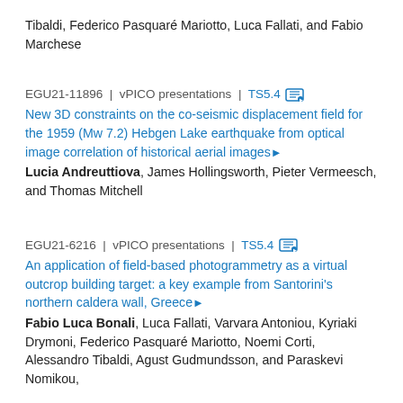Tibaldi, Federico Pasquaré Mariotto, Luca Fallati, and Fabio Marchese
EGU21-11896 | vPICO presentations | TS5.4
New 3D constraints on the co-seismic displacement field for the 1959 (Mw 7.2) Hebgen Lake earthquake from optical image correlation of historical aerial images
Lucia Andreuttiova, James Hollingsworth, Pieter Vermeesch, and Thomas Mitchell
EGU21-6216 | vPICO presentations | TS5.4
An application of field-based photogrammetry as a virtual outcrop building target: a key example from Santorini's northern caldera wall, Greece
Fabio Luca Bonali, Luca Fallati, Varvara Antoniou, Kyriaki Drymoni, Federico Pasquaré Mariotto, Noemi Corti, Alessandro Tibaldi, Agust Gudmundsson, and Paraskevi Nomikou,